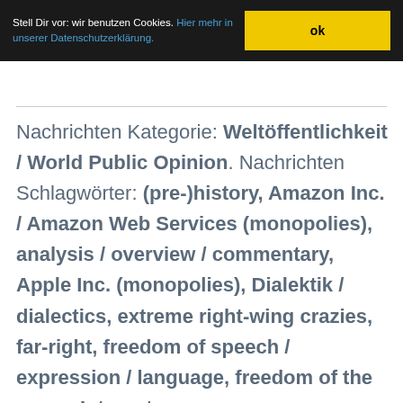Stell Dir vor: wir benutzen Cookies. Hier mehr in unserer Datenschutzerklärung.
ok
Nachrichten Kategorie: Weltöffentlichkeit / World Public Opinion. Nachrichten Schlagwörter: (pre-)history, Amazon Inc. / Amazon Web Services (monopolies), analysis / overview / commentary, Apple Inc. (monopolies), Dialektik / dialectics, extreme right-wing crazies, far-right, freedom of speech / expression / language, freedom of the press, Internet